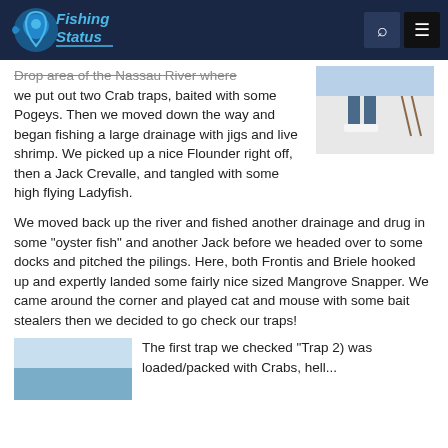Fishing Status
Drop area of the Nassau River where we put out two Crab traps, baited with some Pogeys. Then we moved down the way and began fishing a large drainage with jigs and live shrimp. We picked up a nice Flounder right off, then a Jack Crevalle, and tangled with some high flying Ladyfish.
[Figure (photo): Person standing on a boat deck, legs and shoes visible, fishing rods in background]
We moved back up the river and fished another drainage and drug in some "oyster fish" and another Jack before we headed over to some docks and pitched the pilings. Here, both Frontis and Briele hooked up and expertly landed some fairly nice sized Mangrove Snapper. We came around the corner and played cat and mouse with some bait stealers then we decided to go check our traps!
[Figure (photo): Partial view of a fishing scene, light blue sky and water visible]
The first trap we checked "Trap 2) was loaded/packed with Crabs, hell...